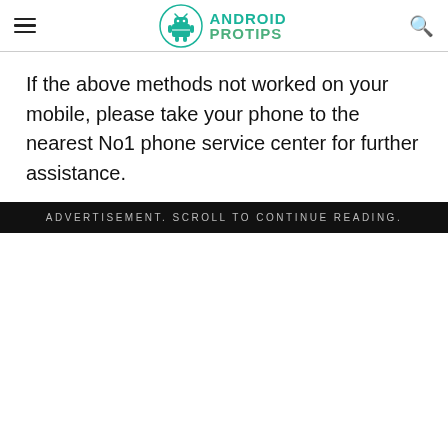ANDROID PROTIPS
If the above methods not worked on your mobile, please take your phone to the nearest No1 phone service center for further assistance.
ADVERTISEMENT. SCROLL TO CONTINUE READING.